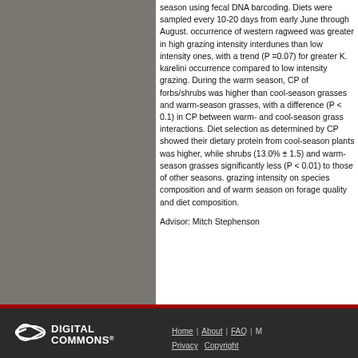season using fecal DNA barcoding. Diets were sampled every 10-20 days from early June through August. occurrence of western ragweed was greater in high grazing intensity interdunes than low intensity ones, with a trend (P =0.07) for greater K. karelini occurrence compared to low intensity grazing. During the warm season, CP of forbs/shrubs was higher than cool-season grasses and warm-season grasses, with a difference (P < 0.1) in CP between warm- and cool-season grass interactions. Diet selection as determined by CP showed their dietary protein from cool-season plants was higher, while shrubs (13.0% ± 1.5) and warm-season grasses significantly less (P < 0.01) to those of other seasons. grazing intensity on species composition and of warm season on forage quality and diet composition.
Advisor: Mitch Stephenson
[Figure (other): Digital Commons powered by bepress logo in white on dark footer background]